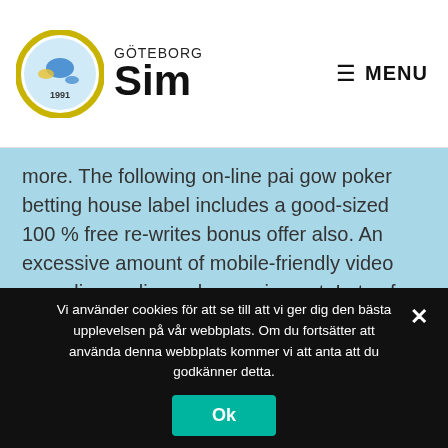GÖTEBORG Sim | MENU
more. The following on-line pai gow poker betting house label includes a good-sized 100 % free re-writes bonus offer also. An excessive amount of mobile-friendly video recording on line poker equipment: Lots of actively playing software architects are often poor so that you can go on to mobile phone video clip on line poker machines.
Vi använder cookies för att se till att vi ger dig den bästa upplevelsen på vår webbplats. Om du fortsätter att använda denna webbplats kommer vi att anta att du godkänner detta.